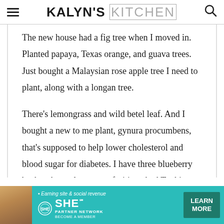KALYN'S KITCHEN
The new house had a fig tree when I moved in. Planted papaya, Texas orange, and guava trees. Just bought a Malaysian rose apple tree I need to plant, along with a longan tree.
There's lemongrass and wild betel leaf. And I bought a new to me plant, gynura procumbens, that's supposed to help lower cholesterol and blood sugar for diabetes. I have three blueberry bushes, but only two are fruiting. And Tonkin jasmine, to stir-fry the flowers with beef.
[Figure (infographic): SHE Media advertisement banner: Earning site & social revenue, SHE Partner Network, Become a Member, Learn More button]